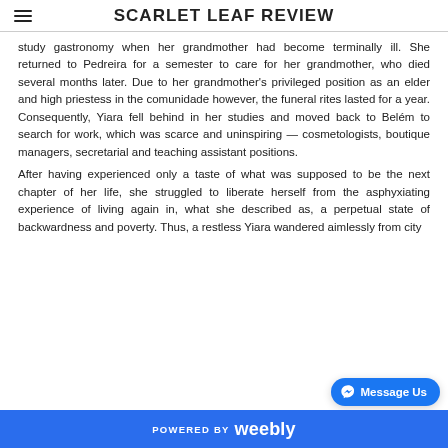SCARLET LEAF REVIEW
study gastronomy when her grandmother had become terminally ill. She returned to Pedreira for a semester to care for her grandmother, who died several months later. Due to her grandmother's privileged position as an elder and high priestess in the comunidade however, the funeral rites lasted for a year. Consequently, Yiara fell behind in her studies and moved back to Belém to search for work, which was scarce and uninspiring — cosmetologists, boutique managers, secretarial and teaching assistant positions.
After having experienced only a taste of what was supposed to be the next chapter of her life, she struggled to liberate herself from the asphyxiating experience of living again in, what she described as, a perpetual state of backwardness and poverty. Thus, a restless Yiara wandered aimlessly from city
POWERED BY weebly